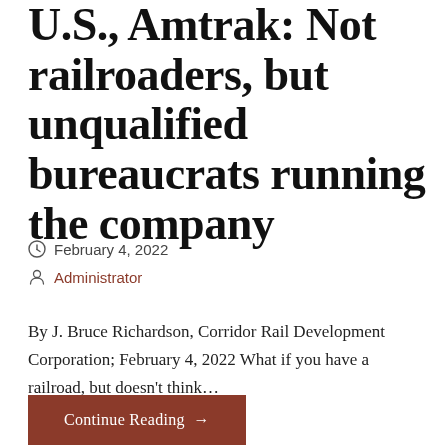U.S., Amtrak: Not railroaders, but unqualified bureaucrats running the company
February 4, 2022
Administrator
By J. Bruce Richardson, Corridor Rail Development Corporation; February 4, 2022 What if you have a railroad, but doesn't think…
Continue Reading →